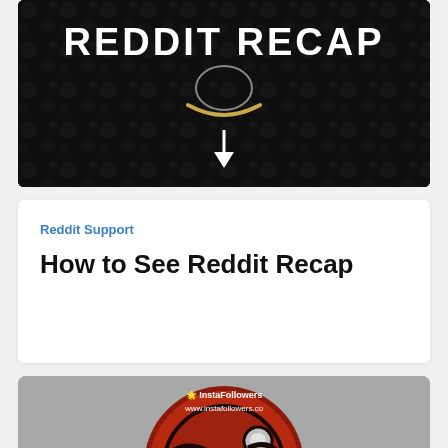[Figure (screenshot): Dark banner image with 'REDDIT RECAP' text in white bold letters, a Reddit alien/snoo icon with a golden Amazon-smile style arc beneath it, and a white downward arrow below on a dark rocky/textured background.]
Reddit Support
How to See Reddit Recap
[Figure (screenshot): Thumbnail image on a gray background showing a large red circular Reddit logo (alien/snoo style icon in dark red tones) with the text 'HOW TO GET' in large white bold letters at the bottom. The InstaFollowers logo and URL www.instafollowers.co appear at the top.]